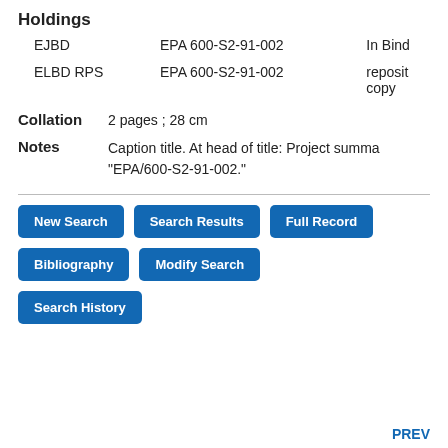Holdings
|  | Call Number | Status |
| --- | --- | --- |
| EJBD | EPA 600-S2-91-002 | In Bind |
| ELBD RPS | EPA 600-S2-91-002 | reposit copy |
Collation   2 pages ; 28 cm
Notes   Caption title. At head of title: Project summa "EPA/600-S2-91-002."
New Search
Search Results
Full Record
Bibliography
Modify Search
Search History
PREV